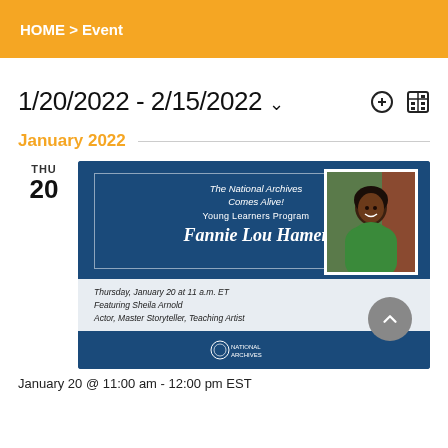HOME > Event
1/20/2022 - 2/15/2022
January 2022
[Figure (photo): Event banner for The National Archives Comes Alive! Young Learners Program featuring Fannie Lou Hamer, with photo of a smiling woman in green top, on Thursday January 20 at 11 a.m. ET, featuring Sheila Arnold, Actor, Master Storyteller, Teaching Artist]
January 20 @ 11:00 am - 12:00 pm EST